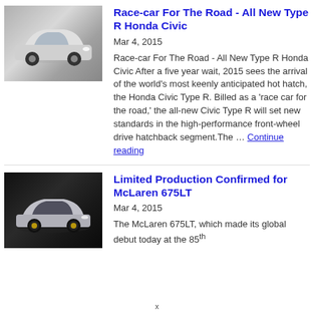[Figure (photo): Honda Civic Type R white car on grey background]
Race-car For The Road - All New Type R Honda Civic
Mar 4, 2015
Race-car For The Road - All New Type R Honda Civic After a five year wait, 2015 sees the arrival of the world's most keenly anticipated hot hatch, the Honda Civic Type R. Billed as a 'race car for the road,' the all-new Civic Type R will set new standards in the high-performance front-wheel drive hatchback segment.The … Continue reading
[Figure (photo): McLaren 675LT grey supercar on dark background]
Limited Production Confirmed for McLaren 675LT
Mar 4, 2015
The McLaren 675LT, which made its global debut today at the 85th
x